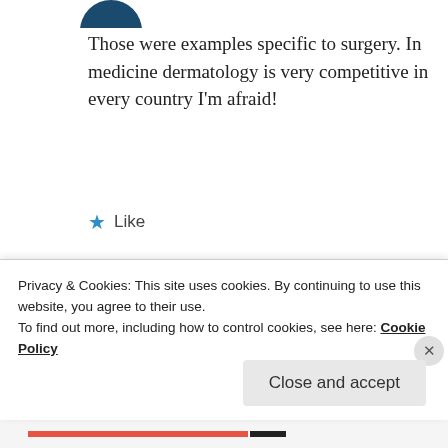[Figure (illustration): Partial avatar icon at top, dark blue circle, cropped]
Those were examples specific to surgery. In medicine dermatology is very competitive in every country I'm afraid!
★ Like
REPLY
[Figure (illustration): Fruzsi commenter avatar - dark green circle with decorative pattern]
Fruzsi
Privacy & Cookies: This site uses cookies. By continuing to use this website, you agree to their use.
To find out more, including how to control cookies, see here: Cookie Policy
Close and accept